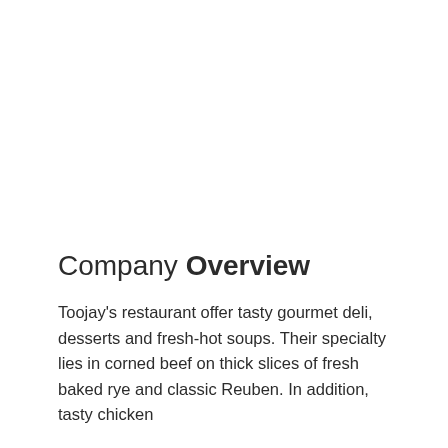Company Overview
Toojay's restaurant offer tasty gourmet deli, desserts and fresh-hot soups. Their specialty lies in corned beef on thick slices of fresh baked rye and classic Reuben. In addition, tasty chicken